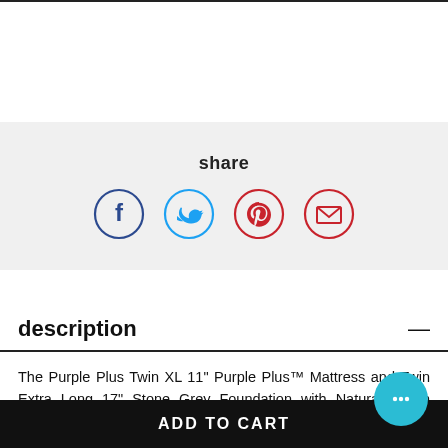share
[Figure (infographic): Social sharing icons: Facebook (dark blue circle), Twitter (light blue circle), Pinterest (red-orange circle), Email/envelope (red-orange circle)]
description —
The Purple Plus Twin XL 11" Purple Plus™ Mattress and Twin Extra Long 17" Stone Grey Foundation with Natural Finish Wood Legs, made by Purple, is brought to you by Walker's Mattress. Walker's Mattress is a local furniture store, serving the Spokane, Kennewick, Tri-Cities, Wenatchee, Coeur D'Alene, Yakima, Walla Walla, Umatilla, Moses Lake area. Product availability may vary. Contact us for the most current availability on this product.
ADD TO CART